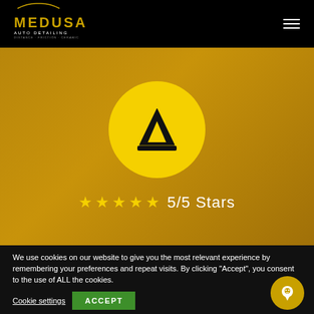[Figure (logo): Medusa Auto Detailing logo with gold car silhouette and text on black header]
[Figure (illustration): Gold/dark gold background with yellow circle containing a black car wash brush icon]
★★★★★ 5/5 Stars
We use cookies on our website to give you the most relevant experience by remembering your preferences and repeat visits. By clicking "Accept", you consent to the use of ALL the cookies.
Cookie settings  ACCEPT